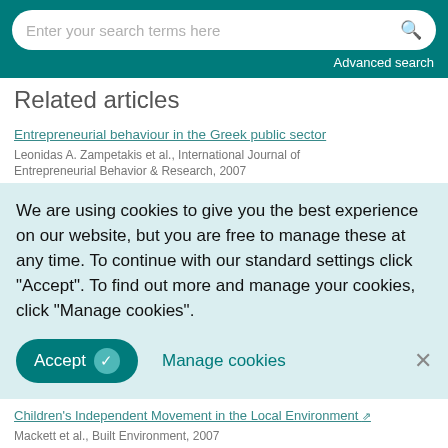Enter your search terms here   Advanced search
Related articles
Entrepreneurial behaviour in the Greek public sector
Leonidas A. Zampetakis et al., International Journal of Entrepreneurial Behavior & Research, 2007
We are using cookies to give you the best experience on our website, but you are free to manage these at any time. To continue with our standard settings click "Accept". To find out more and manage your cookies, click "Manage cookies".
Accept   Manage cookies   ×
Children's Independent Movement in the Local Environment
Mackett et al., Built Environment, 2007